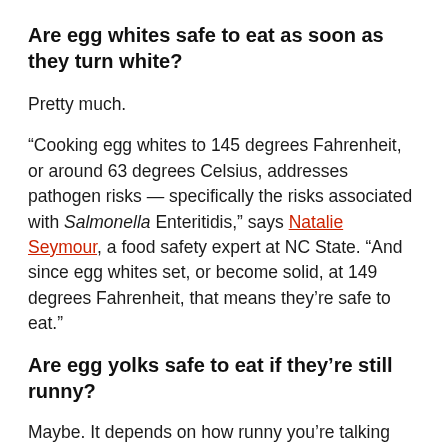Are egg whites safe to eat as soon as they turn white?
Pretty much.
“Cooking egg whites to 145 degrees Fahrenheit, or around 63 degrees Celsius, addresses pathogen risks — specifically the risks associated with Salmonella Enteritidis,” says Natalie Seymour, a food safety expert at NC State. “And since egg whites set, or become solid, at 149 degrees Fahrenheit, that means they’re safe to eat.”
Are egg yolks safe to eat if they’re still runny?
Maybe. It depends on how runny you’re talking about.